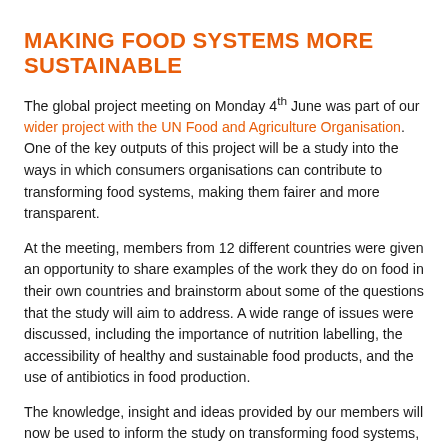MAKING FOOD SYSTEMS MORE SUSTAINABLE
The global project meeting on Monday 4th June was part of our wider project with the UN Food and Agriculture Organisation. One of the key outputs of this project will be a study into the ways in which consumers organisations can contribute to transforming food systems, making them fairer and more transparent.
At the meeting, members from 12 different countries were given an opportunity to share examples of the work they do on food in their own countries and brainstorm about some of the questions that the study will aim to address. A wide range of issues were discussed, including the importance of nutrition labelling, the accessibility of healthy and sustainable food products, and the use of antibiotics in food production.
The knowledge, insight and ideas provided by our members will now be used to inform the study on transforming food systems, which is due to be published later this year.